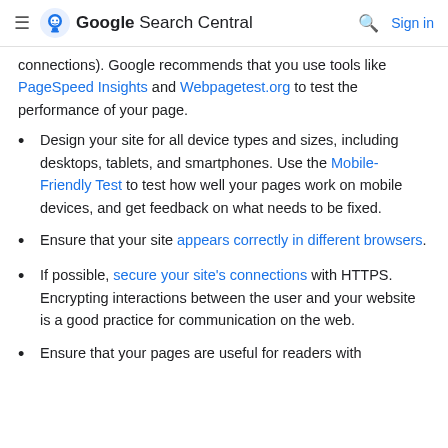Google Search Central  Sign in
connections). Google recommends that you use tools like PageSpeed Insights and Webpagetest.org to test the performance of your page.
Design your site for all device types and sizes, including desktops, tablets, and smartphones. Use the Mobile-Friendly Test to test how well your pages work on mobile devices, and get feedback on what needs to be fixed.
Ensure that your site appears correctly in different browsers.
If possible, secure your site's connections with HTTPS. Encrypting interactions between the user and your website is a good practice for communication on the web.
Ensure that your pages are useful for readers with